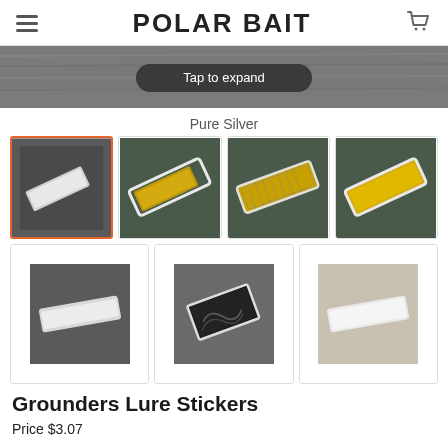POLAR BAIT
[Figure (photo): Product image with dark wood background and tap to expand button]
Pure Silver
[Figure (photo): Grid of 7 lure sticker thumbnail images showing various colors and patterns]
Grounders Lure Stickers
Price $3.07